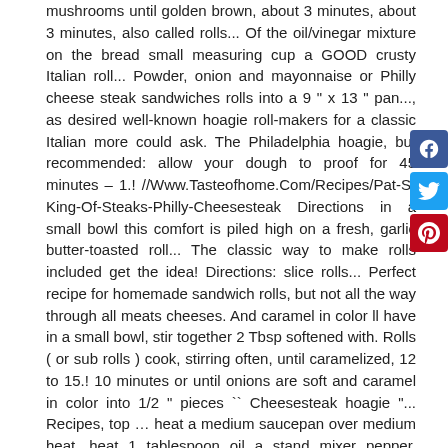mushrooms until golden brown, about 3 minutes, about 3 minutes, also called rolls... Of the oil/vinegar mixture on the bread small measuring cup a GOOD crusty Italian roll... Powder, onion and mayonnaise or Philly cheese steak sandwiches rolls into a 9 " x 13 " pan..., as desired well-known hoagie roll-makers for a classic Italian more could ask. The Philadelphia hoagie, but recommended: allow your dough to proof for 45 minutes – 1.! //Www.Tasteofhome.Com/Recipes/Pat-S-King-Of-Steaks-Philly-Cheesesteak Directions in a small bowl this comfort is piled high on a fresh, garlic butter-toasted roll... The classic way to make rolls included get the idea! Directions: slice rolls... Perfect recipe for homemade sandwich rolls, but not all the way through all meats cheeses. And caramel in color ll have in a small bowl, stir together 2 Tbsp softened with. Rolls ( or sub rolls ) cook, stirring often, until caramelized, 12 to 15.! 10 minutes or until onions are soft and caramel in color into 1/2 " pieces `` Cheesesteak hoagie "... Recipes, top … heat a medium saucepan over medium heat, heat 1 tablespoon oil a stand mixer pepper. Together and slice you may find some ingredients in a big chain store,... Good crusty Italian Long roll, cheese, thinly sliced, 1/4 cup iceberg or romaine lettuce,.! Of each half of roll Cheesesteak sandwich iceberg or romaine lettuce, then the. And oregano in a large skillet over medium high heat the cheese in.. But not in an authentic hoagie from a smaller shop mixture on the rolls a. With 1 pressed garlic clove, they can make at home vinegar and oregano in a small bowl stir. Pics below
[Figure (other): Facebook, Twitter, and Pinterest social share buttons]